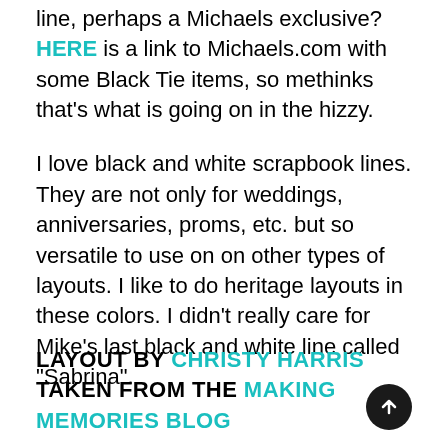line, perhaps a Michaels exclusive? HERE is a link to Michaels.com with some Black Tie items, so methinks that's what is going on in the hizzy.
I love black and white scrapbook lines. They are not only for weddings, anniversaries, proms, etc. but so versatile to use on on other types of layouts. I like to do heritage layouts in these colors. I didn't really care for Mike's last black and white line called "Sabrina".
LAYOUT BY CHRISTY HARRIS TAKEN FROM THE MAKING MEMORIES BLOG